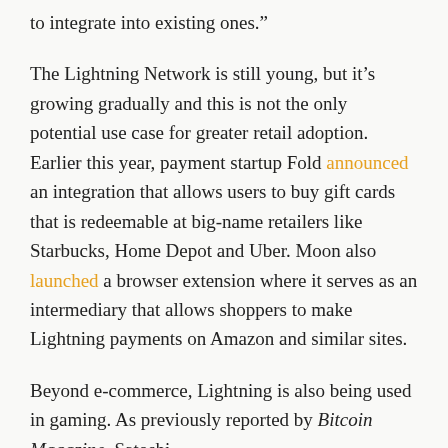to integrate into existing ones."
The Lightning Network is still young, but it’s growing gradually and this is not the only potential use case for greater retail adoption. Earlier this year, payment startup Fold announced an integration that allows users to buy gift cards that is redeemable at big-name retailers like Starbucks, Home Depot and Uber. Moon also launched a browser extension where it serves as an intermediary that allows shoppers to make Lightning payments on Amazon and similar sites.
Beyond e-commerce, Lightning is also being used in gaming. As previously reported by Bitcoin Magazine, Satoshi